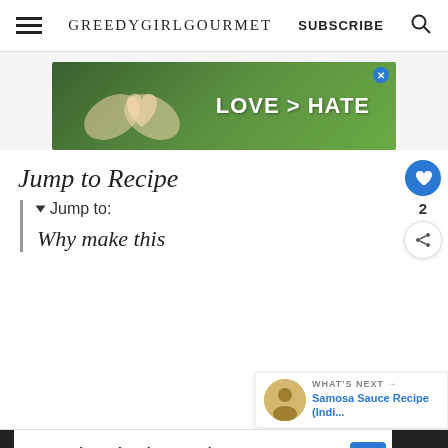GREEDYGIRLGOURMET  SUBSCRIBE
[Figure (photo): Advertisement banner showing two hands forming a heart shape against a green background with text LOVE > HATE]
Jump to Recipe
▼ Jump to:
Why make this
WHAT'S NEXT → Samosa Sauce Recipe (Indi...
[Figure (photo): Walgreens advertisement bar at bottom: Shop Vitamins at Walgreens, Walgreens Photo]